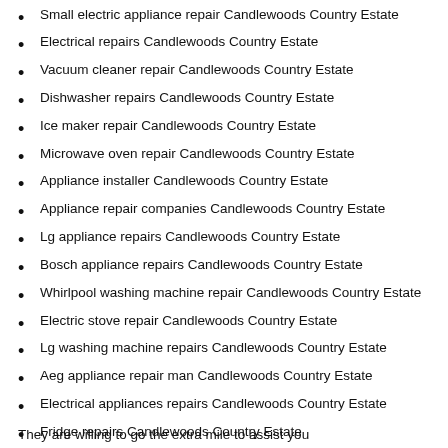Small electric appliance repair Candlewoods Country Estate
Electrical repairs Candlewoods Country Estate
Vacuum cleaner repair Candlewoods Country Estate
Dishwasher repairs Candlewoods Country Estate
Ice maker repair Candlewoods Country Estate
Microwave oven repair Candlewoods Country Estate
Appliance installer Candlewoods Country Estate
Appliance repair companies Candlewoods Country Estate
Lg appliance repairs Candlewoods Country Estate
Bosch appliance repairs Candlewoods Country Estate
Whirlpool washing machine repair Candlewoods Country Estate
Electric stove repair Candlewoods Country Estate
Lg washing machine repairs Candlewoods Country Estate
Aeg appliance repair man Candlewoods Country Estate
Electrical appliances repairs Candlewoods Country Estate
Fridge repairs Candlewoods Country Estate
Samsung appliances repairs Candlewoods Country Estate
Bosch appliances service Candlewoods Country Estate
Kitchen gas appliances repair Candlewoods Country Estate
Home appliances repair Candlewoods Country Estate
Washing machine repairs Candlewoods Country Estate
Ge appliances repairs Candlewoods Country Estate
Oven repair Candlewoods Country Estate
Washer repair Candlewoods Country Estate
Bosch washing machine repairs Candlewoods Country Estate
They are willing to go the extra mile to assist you